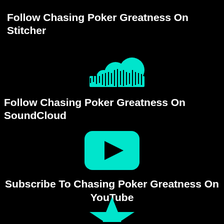Follow Chasing Poker Greatness On Stitcher
[Figure (logo): SoundCloud logo icon in teal/cyan color]
Follow Chasing Poker Greatness On SoundCloud
[Figure (logo): YouTube play button icon in teal/cyan color]
Subscribe To Chasing Poker Greatness On YouTube
[Figure (logo): Partial star shape icon in teal/cyan color, partially cropped at bottom]